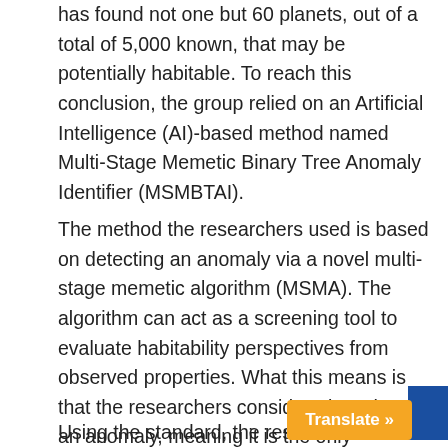has found not one but 60 planets, out of a total of 5,000 known, that may be potentially habitable. To reach this conclusion, the group relied on an Artificial Intelligence (AI)-based method named Multi-Stage Memetic Binary Tree Anomaly Identifier (MSMBTAI).
The method the researchers used is based on detecting an anomaly via a novel multi-stage memetic algorithm (MSMA). The algorithm can act as a screening tool to evaluate habitability perspectives from observed properties. What this means is that the researchers considered Earth as an anomaly, meaning it is the only habitable planet among thousands of planets known so far.
Using the standard, the researchers